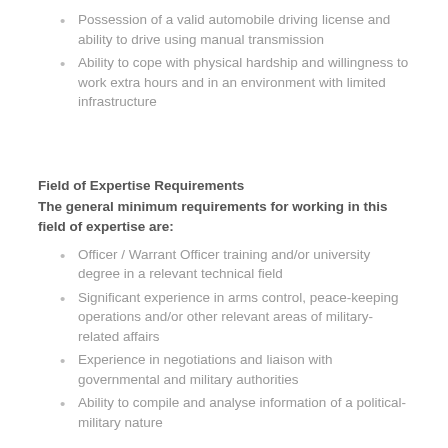Possession of a valid automobile driving license and ability to drive using manual transmission
Ability to cope with physical hardship and willingness to work extra hours and in an environment with limited infrastructure
Field of Expertise Requirements
The general minimum requirements for working in this field of expertise are:
Officer / Warrant Officer training and/or university degree in a relevant technical field
Significant experience in arms control, peace-keeping operations and/or other relevant areas of military-related affairs
Experience in negotiations and liaison with governmental and military authorities
Ability to compile and analyse information of a political-military nature